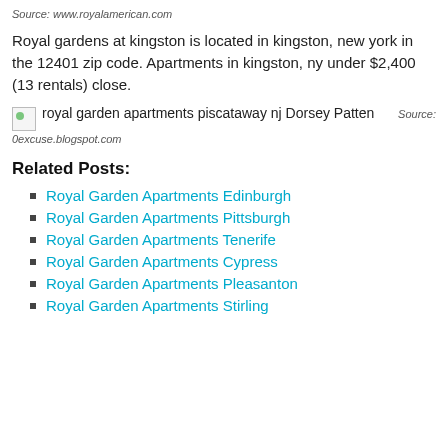Source: www.royalamerican.com
Royal gardens at kingston is located in kingston, new york in the 12401 zip code. Apartments in kingston, ny under $2,400 (13 rentals) close.
[Figure (photo): Broken image placeholder with alt text: royal garden apartments piscataway nj Dorsey Patten. Source: 0excuse.blogspot.com]
Related Posts:
Royal Garden Apartments Edinburgh
Royal Garden Apartments Pittsburgh
Royal Garden Apartments Tenerife
Royal Garden Apartments Cypress
Royal Garden Apartments Pleasanton
Royal Garden Apartments Stirling